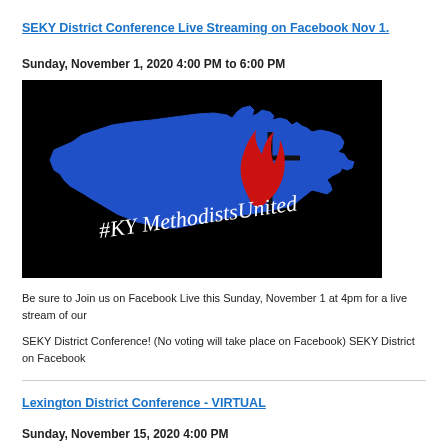SEKY District Conference Live Streaming on Facebook Nov 1.
Sunday, November 1, 2020 4:00 PM to 6:00 PM
[Figure (illustration): Blue silhouette of the state of Kentucky on a black background with a red and black United Methodist cross-and-flame logo, and cursive white text reading '#KY MethodistsUnited']
Be sure to Join us on Facebook Live this Sunday, November 1 at 4pm for a live stream of our
SEKY District Conference! (No voting will take place on Facebook) SEKY District on Facebook
Lexington District Conference - VIRTUAL
Sunday, November 15, 2020 4:00 PM